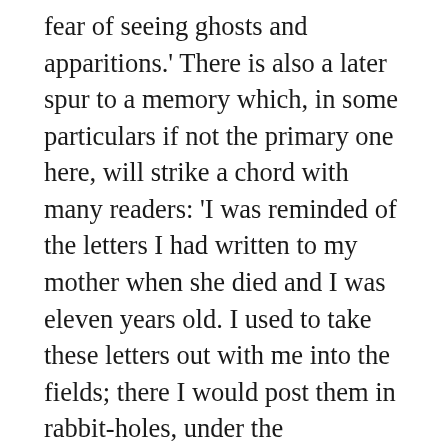fear of seeing ghosts and apparitions.' There is also a later spur to a memory which, in some particulars if not the primary one here, will strike a chord with many readers: 'I was reminded of the letters I had written to my mother when she died and I was eleven years old. I used to take these letters out with me into the fields; there I would post them in rabbit‑holes, under the overhanging cornices of streams, amongst the tangle of roots and stones and earth, in empty birds' nests, in old tins and bottles and the pockets of ragged clothes on rubbish dumps, down waterfalls and millraces and a deep forgotten well in the garden of a ruined cottage.'[8]